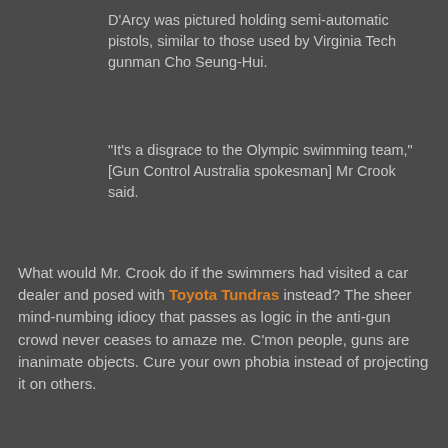D'Arcy was pictured holding semi-automatic pistols, similar to those used by Virginia Tech gunman Cho Seung-Hui.
"It's a disgrace to the Olympic swimming team," [Gun Control Australia spokesman] Mr Crook said.
What would Mr. Crook do if the swimmers had visited a car dealer and posed with Toyota Tundras instead? The sheer mind-numbing idiocy that passes as logic in the anti-gun crowd never ceases to amaze me. C'mon people, guns are inanimate objects. Cure your own phobia instead of projecting it on others.
[Figure (photo): Two young men posing in what appears to be a gun store or sporting goods store, holding rifles crossed in front of them, with shelves of merchandise visible in the background.]